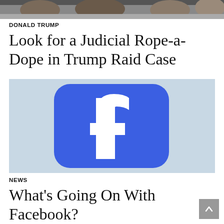[Figure (photo): Partial photo of people at top of page, cropped]
DONALD TRUMP
Look for a Judicial Rope-a-Dope in Trump Raid Case
[Figure (photo): Close-up photo of the Facebook logo — white 'f' on a blue rounded-square background]
NEWS
What's Going On With Facebook?